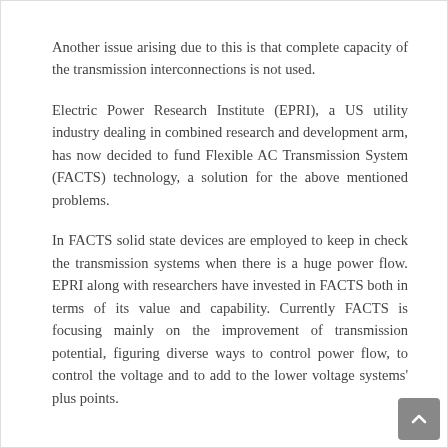Another issue arising due to this is that complete capacity of the transmission interconnections is not used.
Electric Power Research Institute (EPRI), a US utility industry dealing in combined research and development arm, has now decided to fund Flexible AC Transmission System (FACTS) technology, a solution for the above mentioned problems.
In FACTS solid state devices are employed to keep in check the transmission systems when there is a huge power flow. EPRI along with researchers have invested in FACTS both in terms of its value and capability. Currently FACTS is focusing mainly on the improvement of transmission potential, figuring diverse ways to control power flow, to control the voltage and to add to the lower voltage systems' plus points.